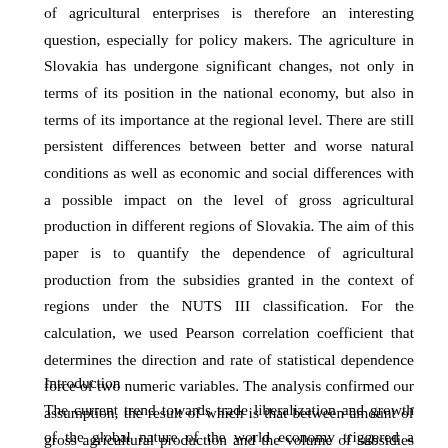of agricultural enterprises is therefore an interesting question, especially for policy makers. The agriculture in Slovakia has undergone significant changes, not only in terms of its position in the national economy, but also in terms of its importance at the regional level. There are still persistent differences between better and worse natural conditions as well as economic and social differences with a possible impact on the level of gross agricultural production in different regions of Slovakia. The aim of this paper is to quantify the dependence of agricultural production from the subsidies granted in the context of regions under the NUTS III classification. For the calculation, we used Pearson correlation coefficient that determines the direction and rate of statistical dependence force of two numeric variables. The analysis confirmed our assumption, the result of which is that between amount of gross agricultural production and the volume of subsidies granted is a strong correlation.
Introduction
The current trend towards trade liberalization and growth of the global nature of the world economy triggered a series of